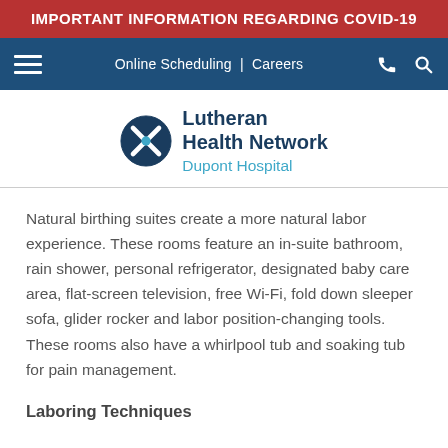IMPORTANT INFORMATION REGARDING COVID-19
[Figure (screenshot): Navy navigation bar with hamburger menu, Online Scheduling | Careers links, phone and search icons]
[Figure (logo): Lutheran Health Network Dupont Hospital logo with circular blue/white cross emblem]
Natural birthing suites create a more natural labor experience. These rooms feature an in-suite bathroom, rain shower, personal refrigerator, designated baby care area, flat-screen television, free Wi-Fi, fold down sleeper sofa, glider rocker and labor position-changing tools. These rooms also have a whirlpool tub and soaking tub for pain management.
Laboring Techniques